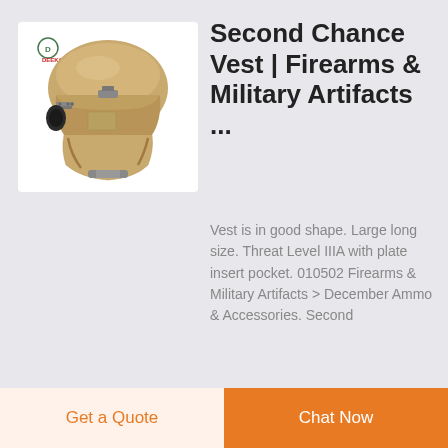[Figure (photo): Tan/desert colored tactical military ballistic helmet with chin strap and side rail mounts, DEEKON brand logo visible in top-left corner of the product image.]
Second Chance Vest | Firearms & Military Artifacts ...
Vest is in good shape. Large long size. Threat Level IIIA with plate insert pocket. 010502 Firearms & Military Artifacts > December Ammo & Accessories. Second